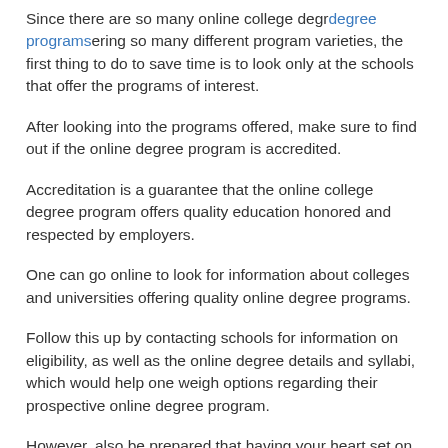Since there are so many online college degrdegree programsering so many different program varieties, the first thing to do to save time is to look only at the schools that offer the programs of interest.
After looking into the programs offered, make sure to find out if the online degree program is accredited.
Accreditation is a guarantee that the online college degree program offers quality education honored and respected by employers.
One can go online to look for information about colleges and universities offering quality online degree programs.
Follow this up by contacting schools for information on eligibility, as well as the online degree details and syllabi, which would help one weigh options regarding their prospective online degree program.
However, also be prepared that having your heart set on a particular school does not necessarily guarantee an outright spot on their